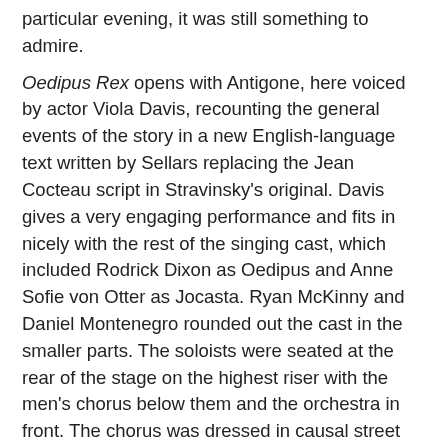particular evening, it was still something to admire.
Oedipus Rex opens with Antigone, here voiced by actor Viola Davis, recounting the general events of the story in a new English-language text written by Sellars replacing the Jean Cocteau script in Stravinsky's original. Davis gives a very engaging performance and fits in nicely with the rest of the singing cast, which included Rodrick Dixon as Oedipus and Anne Sofie von Otter as Jocasta. Ryan McKinny and Daniel Montenegro rounded out the cast in the smaller parts. The soloists were seated at the rear of the stage on the highest riser with the men's chorus below them and the orchestra in front. The chorus was dressed in causal street clothes in hues of blue and the soloists were given thrones to sit on. These were no ordinary chairs, however, but instead art works from Ethiopian sculptor Elias Sime who recently wrapped up an exhibit in Santa Monica. All the cast performed their parts with a series of sharp and repetitive hand gestures to emphasize the content of their speech. And, while all of this was interesting, it was frustrating that, despite rather mild amplification of the speakers and soloists, it was often hard to hear them over the orchestra. The chorus was highlight the chorus idiosyncrasy of